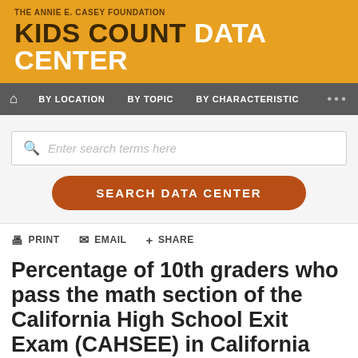THE ANNIE E. CASEY FOUNDATION KIDS COUNT DATA CENTER
BY LOCATION  BY TOPIC  BY CHARACTERISTIC
Enter search terms here
SEARCH DATA CENTER
PRINT  EMAIL  SHARE
Percentage of 10th graders who pass the math section of the California High School Exit Exam (CAHSEE) in California